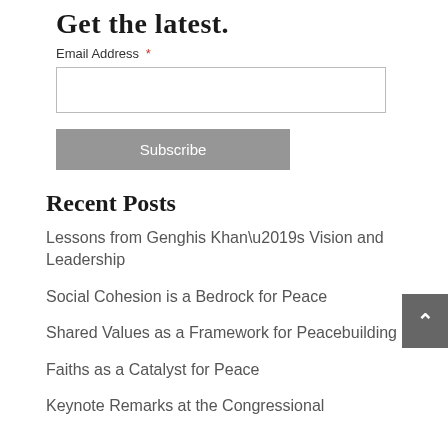Get the latest.
Email Address *
Subscribe
Recent Posts
Lessons from Genghis Khan’s Vision and Leadership
Social Cohesion is a Bedrock for Peace
Shared Values as a Framework for Peacebuilding
Faiths as a Catalyst for Peace
Keynote Remarks at the Congressional